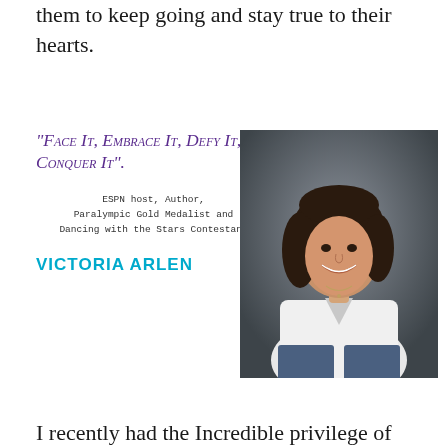them to keep going and stay true to their hearts.
[Figure (photo): Professional photo of Victoria Arlen, a young woman with dark wavy hair, smiling, wearing a white blouse and jeans, against a dark grey background.]
"Face It, Embrace It, Defy It, Conquer It".
ESPN host, Author, Paralympic Gold Medalist and Dancing with the Stars Contestant
VICTORIA ARLEN
I recently had the Incredible privilege of